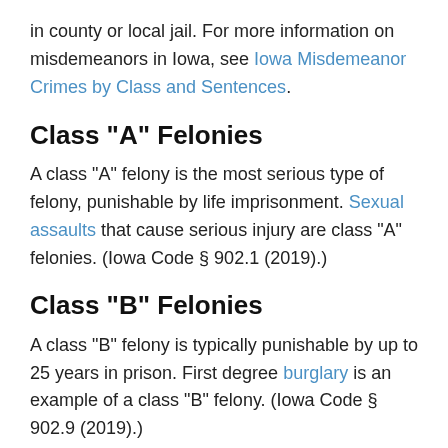in county or local jail. For more information on misdemeanors in Iowa, see Iowa Misdemeanor Crimes by Class and Sentences.
Class "A" Felonies
A class "A" felony is the most serious type of felony, punishable by life imprisonment. Sexual assaults that cause serious injury are class "A" felonies. (Iowa Code § 902.1 (2019).)
Class "B" Felonies
A class "B" felony is typically punishable by up to 25 years in prison. First degree burglary is an example of a class "B" felony. (Iowa Code § 902.9 (2019).)